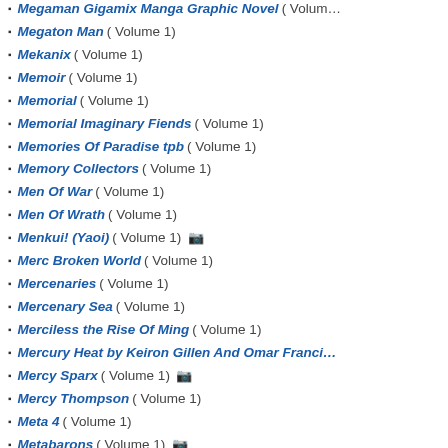Megaman Gigamix Manga Graphic Novel ( Volume 1)
Megaton Man ( Volume 1)
Mekanix ( Volume 1)
Memoir ( Volume 1)
Memorial ( Volume 1)
Memorial Imaginary Fiends ( Volume 1)
Memories Of Paradise tpb ( Volume 1)
Memory Collectors ( Volume 1)
Men Of War ( Volume 1)
Men Of Wrath ( Volume 1)
Menkui! (Yaoi) ( Volume 1) 📷
Merc Broken World ( Volume 1)
Mercenaries ( Volume 1)
Mercenary Sea ( Volume 1)
Merciless the Rise Of Ming ( Volume 1)
Mercury Heat by Keiron Gillen And Omar Francia
Mercy Sparx ( Volume 1) 📷
Mercy Thompson ( Volume 1)
Meta 4 ( Volume 1)
Metabarons ( Volume 1) 📷
Metal Hurlant ( Volume 1) 📷
Metal Locus ( Volume 1)
Metal Men ( Volume 2)
Metal Men ( Volume 4)
Metallic Silence ( Volume 1)
Method Man Promo Comic ( Volume 1)
MGMT Volume Two ( Volume 1)
Miami Vice Remix by Jim Mahfood ( Volume 1)